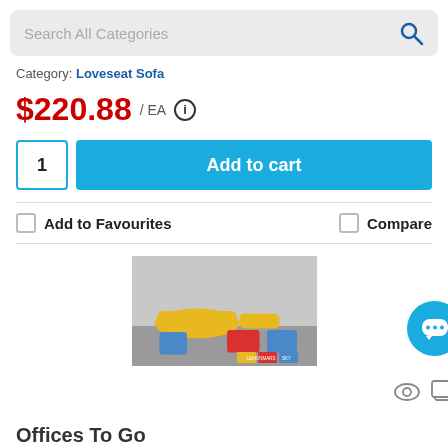Search All Categories
Category: Loveseat Sofa
$220.88 / EA
1  Add to cart
Add to Favourites
Compare
[Figure (photo): Modular seating arrangement with curved yellow sofas, red and blue square ottomans on a carpeted floor, with color swatches at bottom]
Offices To Go